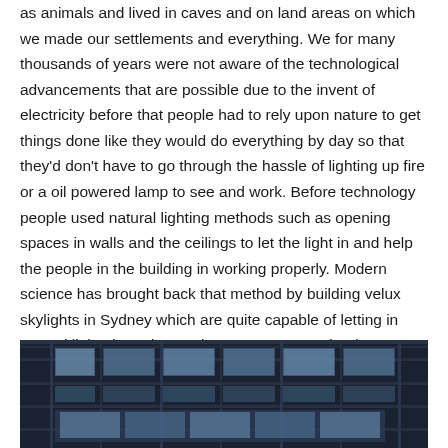as animals and lived in caves and on land areas on which we made our settlements and everything. We for many thousands of years were not aware of the technological advancements that are possible due to the invent of electricity before that people had to rely upon nature to get things done like they would do everything by day so that they'd don't have to go through the hassle of lighting up fire or a oil powered lamp to see and work. Before technology people used natural lighting methods such as opening spaces in walls and the ceilings to let the light in and help the people in the building in working properly. Modern science has brought back that method by building velux skylights in Sydney which are quite capable of letting in natural lights in and nowadays you can even book an appointment online so that you can get one installed in your room or in your workplace.
[Figure (photo): Interior ceiling photograph showing skylight panels and structural framework in a dark industrial or commercial building, with multiple rectangular frosted light panels visible.]